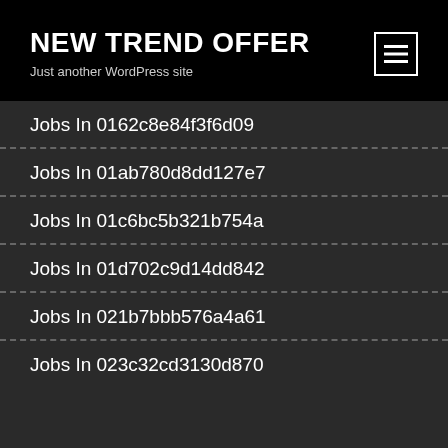NEW TREND OFFER
Just another WordPress site
Jobs In 0162c8e84f3f6d09
Jobs In 01ab780d8dd127e7
Jobs In 01c6bc5b321b754a
Jobs In 01d702c9d14dd842
Jobs In 021b7bbb576a4a61
Jobs In 023c32cd3130d870